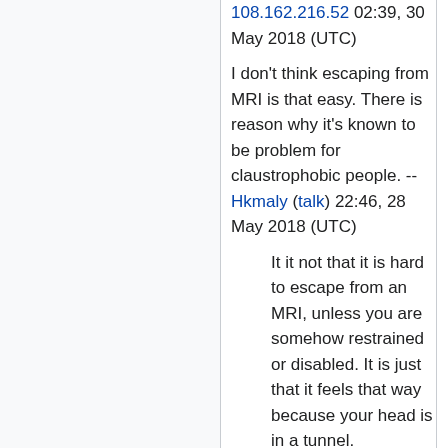108.162.216.52 02:39, 30 May 2018 (UTC)
I don't think escaping from MRI is that easy. There is reason why it's known to be problem for claustrophobic people. -- Hkmaly (talk) 22:46, 28 May 2018 (UTC)
It it not that it is hard to escape from an MRI, unless you are somehow restrained or disabled. It is just that it feels that way because your head is in a tunnel. 141.101.88.220 13:31, 29 May 2018 (UTC)
Is it dangerous to leave an MRI mid-scan? 172.68.189.115 18:57, 29